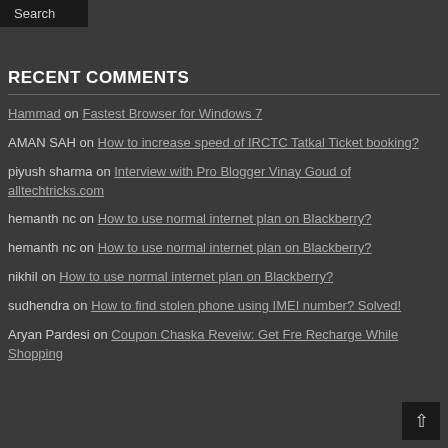Search
RECENT COMMENTS
Hammad on Fastest Browser for Windows 7
AMAN SAH on How to increase speed of IRCTC Tatkal Ticket booking?
piyush sharma on Interview with Pro Blogger Vinay Goud of alltechtricks.com
hemanth nc on How to use normal internet plan on Blackberry?
hemanth nc on How to use normal internet plan on Blackberry?
nikhil on How to use normal internet plan on Blackberry?
sudhendra on How to find stolen phone using IMEI number? Solved!
Aryan Pardesi on Coupon Chaska Reveiw: Get Fre Recharge While Shopping